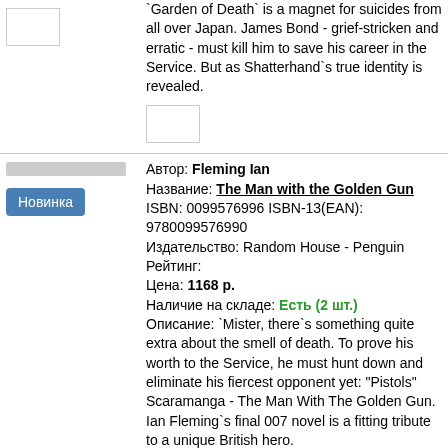'Garden of Death' is a magnet for suicides from all over Japan. James Bond - grief-stricken and erratic - must kill him to save his career in the Service. But as Shatterhand`s true identity is revealed.
Автор: Fleming Ian
Название: The Man with the Golden Gun
ISBN: 0099576996 ISBN-13(EAN): 9780099576990
Издательство: Random House - Penguin
Рейтинг:
Цена: 1168 р.
Наличие на складе: Есть (2 шт.)
Описание: `Mister, there`s something quite extra about the smell of death. To prove his worth to the Service, he must hunt down and eliminate his fiercest opponent yet: "Pistols" Scaramanga - The Man With The Golden Gun. Ian Fleming`s final 007 novel is a fitting tribute to a unique British hero.
Автор: Fleming Ian
Название: Diamonds are Forever
ISBN: 0099576880 ISBN-13(EAN):